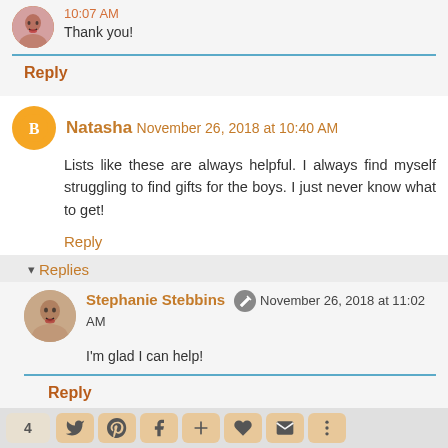10:07 AM
Thank you!
Reply
Natasha November 26, 2018 at 10:40 AM
Lists like these are always helpful. I always find myself struggling to find gifts for the boys. I just never know what to get!
Reply
▾ Replies
Stephanie Stebbins November 26, 2018 at 11:02 AM
I'm glad I can help!
Reply